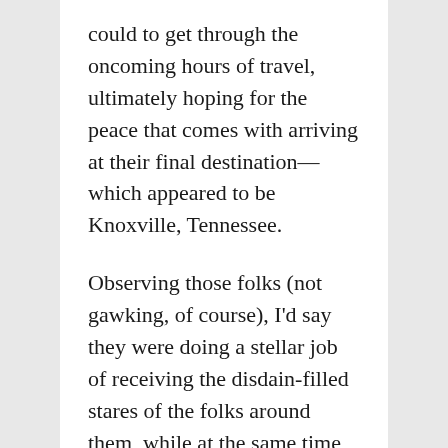could to get through the oncoming hours of travel, ultimately hoping for the peace that comes with arriving at their final destination—which appeared to be Knoxville, Tennessee.
Observing those folks (not gawking, of course), I'd say they were doing a stellar job of receiving the disdain-filled stares of the folks around them, while at the same time managing their own inclinations to put a red tag on the kid and check him as extra baggage at the door of